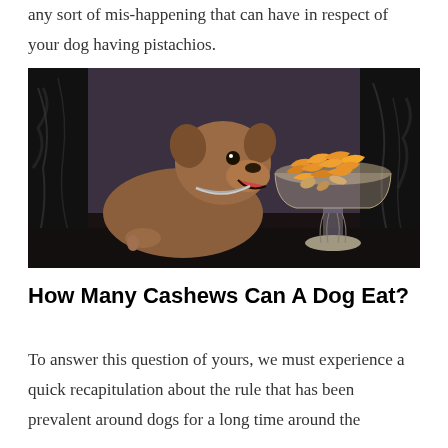any sort of mis-happening that can have in respect of your dog having pistachios.
[Figure (photo): A small brown puppy with a chain necklace reaching toward a glass bowl filled with cashews and other nuts, set against a dark background]
How Many Cashews Can A Dog Eat?
To answer this question of yours, we must experience a quick recapitulation about the rule that has been prevalent around dogs for a long time around the